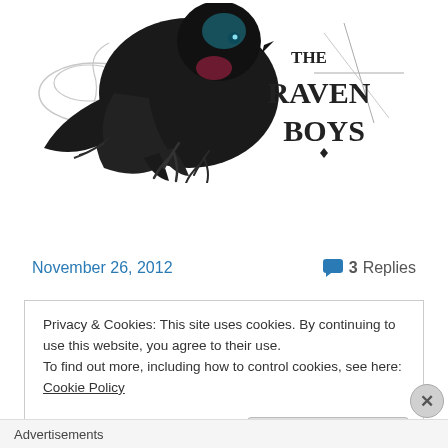[Figure (illustration): Book cover art for 'The Raven Boys' showing a dark raven/crow with blue highlights on a white background with swirling designs, and the text 'THE RAVEN BOYS' in large serif letters]
Continue reading →
November 26, 2012
3 Replies
Privacy & Cookies: This site uses cookies. By continuing to use this website, you agree to their use.
To find out more, including how to control cookies, see here: Cookie Policy
Close and accept
Advertisements